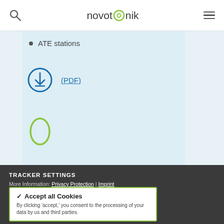[Figure (logo): Novotronik logo with search icon and hamburger menu in white header bar]
ATE stations
[Figure (illustration): Blue circular download icon with downward arrow]
(PDF)
[Figure (illustration): Green oval/capsule outline icon]
TRACKER SETTINGS
More Information: Privacy Protection | Imprint
✔ Accept all Cookies
By clicking 'accept,' you consent to the processing of your data by us and third parties.
⊘ Required Cookies
Required cookies are required to enable the use of our website; because they are required, the "Required Cookies" button does not allow selection and deactivation.